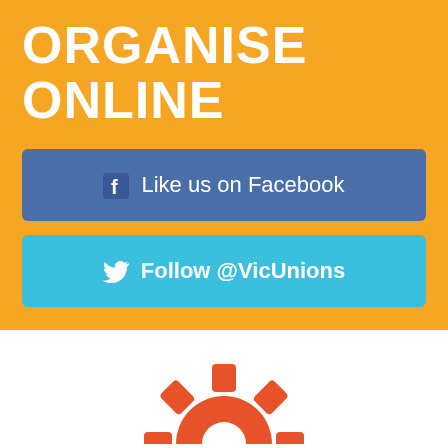ORGANISE ONLINE
Like us on Facebook
Follow @VicUnions
[Figure (illustration): Partial orange gear/cog icon visible at bottom of page]